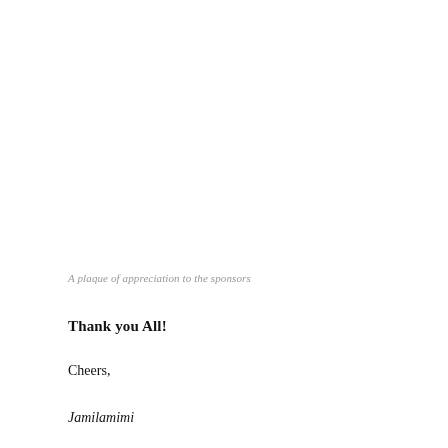A plaque of appreciation to the sponsors
Thank you All!
Cheers,
Jamilamimi